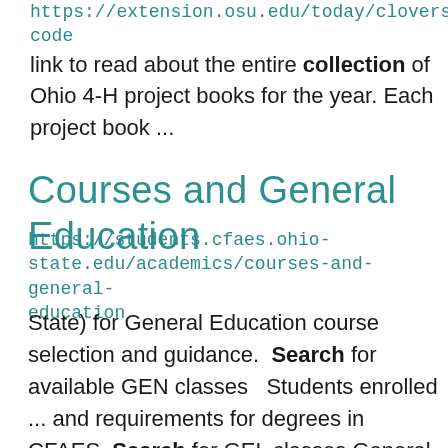https://extension.osu.edu/today/clovers-code link to read about the entire collection of Ohio 4-H project books for the year. Each project book ...
Courses and General Education
https://students.cfaes.ohio-state.edu/academics/courses-and-general-education
State) for General Education course selection and guidance. Search for available GEN classes  Students enrolled ... and requirements for degrees in CFAES. Search for GEL classes General Education-Legacy Course ... about their General Education courses and requirements